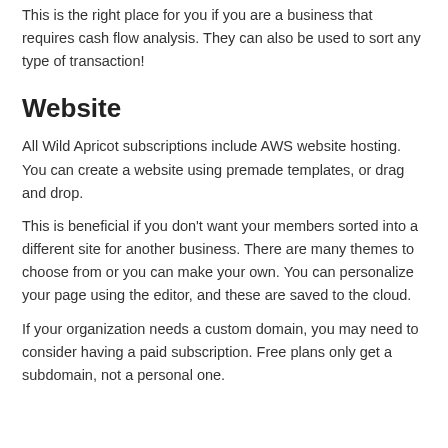This is the right place for you if you are a business that requires cash flow analysis. They can also be used to sort any type of transaction!
Website
All Wild Apricot subscriptions include AWS website hosting. You can create a website using premade templates, or drag and drop.
This is beneficial if you don't want your members sorted into a different site for another business. There are many themes to choose from or you can make your own. You can personalize your page using the editor, and these are saved to the cloud.
If your organization needs a custom domain, you may need to consider having a paid subscription. Free plans only get a subdomain, not a personal one.